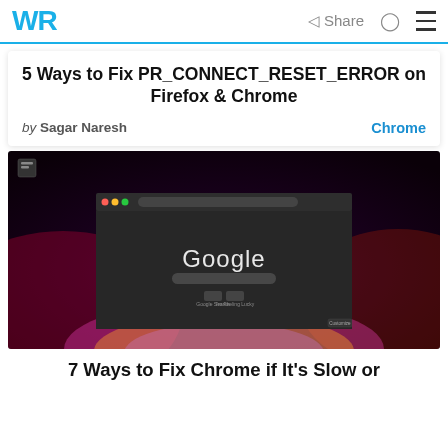WR  Share  🔍  ☰
5 Ways to Fix PR_CONNECT_RESET_ERROR on Firefox & Chrome
by Sagar Naresh   Chrome
[Figure (screenshot): Screenshot of Google Chrome browser homepage with dark/colorful background]
7 Ways to Fix Chrome if It's Slow or